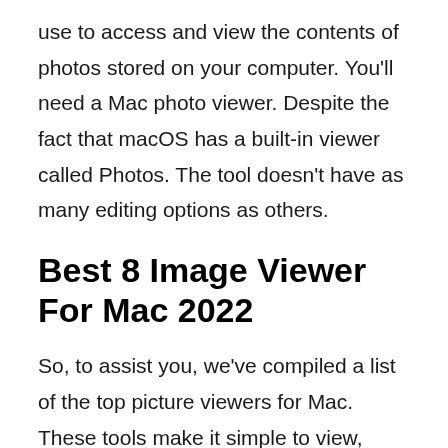use to access and view the contents of photos stored on your computer. You'll need a Mac photo viewer. Despite the fact that macOS has a built-in viewer called Photos. The tool doesn't have as many editing options as others.
Best 8 Image Viewer For Mac 2022
So, to assist you, we've compiled a list of the top picture viewers for Mac. These tools make it simple to view, manage, sort, update, and execute a variety of other tasks. In 2022, here is a list of the 8 best image viewers for Mac tools. The 8 greatest picture or image